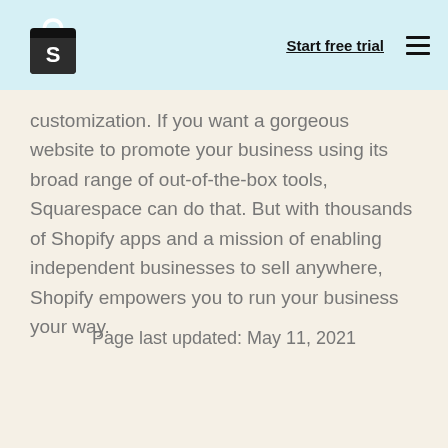Start free trial
customization. If you want a gorgeous website to promote your business using its broad range of out-of-the-box tools, Squarespace can do that. But with thousands of Shopify apps and a mission of enabling independent businesses to sell anywhere, Shopify empowers you to run your business your way.
Page last updated: May 11, 2021